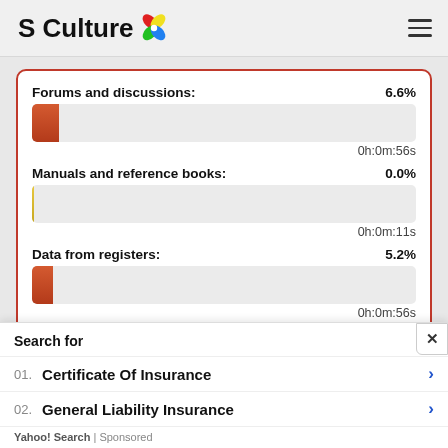S Culture
[Figure (bar-chart): Forums and discussions / Manuals and reference books / Data from registers]
Search for
01. Certificate Of Insurance
02. General Liability Insurance
Yahoo! Search | Sponsored